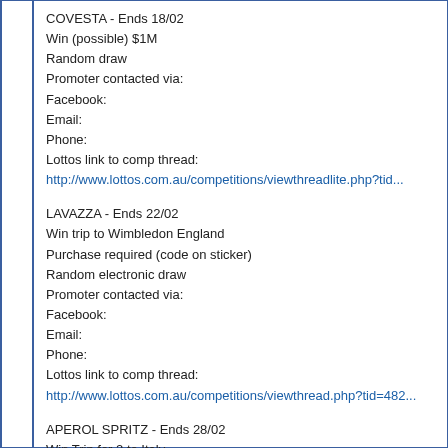COVESTA - Ends 18/02
Win (possible) $1M
Random draw
Promoter contacted via:
Facebook:
Email:
Phone:
Lottos link to comp thread:
http://www.lottos.com.au/competitions/viewthreadlite.php?tid...
LAVAZZA - Ends 22/02
Win trip to Wimbledon England
Purchase required (code on sticker)
Random electronic draw
Promoter contacted via:
Facebook:
Email:
Phone:
Lottos link to comp thread:
http://www.lottos.com.au/competitions/viewthread.php?tid=482...
APEROL SPRITZ - Ends 28/02
Win Trip for 2 to Italy
Value $10k
Random electronic draw
Promoter contacted via: